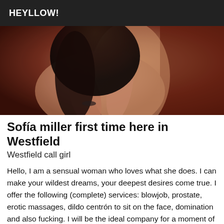HEYLLOW!
[Figure (photo): Close-up photo of a woman with dark hair against a dark red/brown background]
Sofía miller first time here in Westfield
Westfield call girl
Hello, I am a sensual woman who loves what she does. I can make your wildest dreams, your deepest desires come true. I offer the following (complete) services: blowjob, prostate, erotic massages, dildo centrón to sit on the face, domination and also fucking. I will be the ideal company for a moment of tenderness, relaxation, but also a moment of madness and pleasure. I receive you in my apartment in all discretion in a warm, cosy and